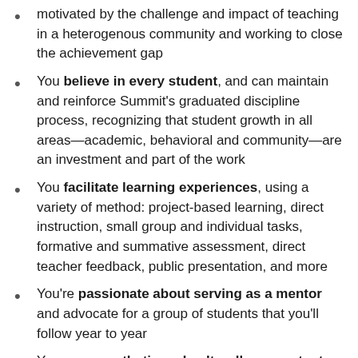motivated by the challenge and impact of teaching in a heterogenous community and working to close the achievement gap
You believe in every student, and can maintain and reinforce Summit's graduated discipline process, recognizing that student growth in all areas—academic, behavioral and community—are an investment and part of the work
You facilitate learning experiences, using a variety of method: project-based learning, direct instruction, small group and individual tasks, formative and summative assessment, direct teacher feedback, public presentation, and more
You're passionate about serving as a mentor and advocate for a group of students that you'll follow year to year
You are empathetic and culturally competent. You design and implement social and emotional learning experiences in all courses, and you're open to having hard conversations